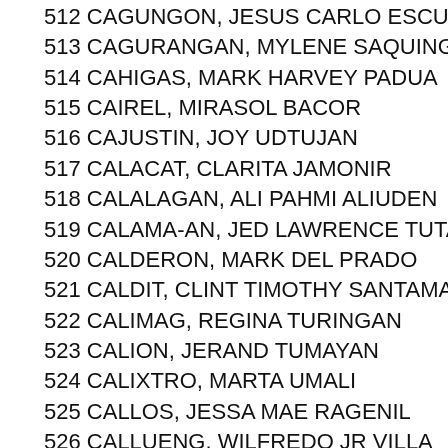512 CAGUNGON, JESUS CARLO ESCULTURA
513 CAGURANGAN, MYLENE SAQUING
514 CAHIGAS, MARK HARVEY PADUA
515 CAIREL, MIRASOL BACOR
516 CAJUSTIN, JOY UDTUJAN
517 CALACAT, CLARITA JAMONIR
518 CALALAGAN, ALI PAHMI ALIUDEN
519 CALAMA-AN, JED LAWRENCE TUTANES
520 CALDERON, MARK DEL PRADO
521 CALDIT, CLINT TIMOTHY SANTAMARIA
522 CALIMAG, REGINA TURINGAN
523 CALION, JERAND TUMAYAN
524 CALIXTRO, MARTA UMALI
525 CALLOS, JESSA MAE RAGENIL
526 CALLUENG, WILFREDO JR VILLA
527 CALO, NORBURHAN LIDASAN
528 CALOT, BRYAN PAUL SALANGUSTE
529 CAMILO, CHARLIZE TIU (truncated)